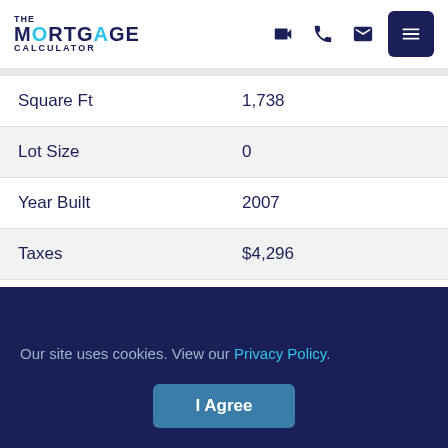The Mortgage Calculator — header with logo and navigation icons
| Field | Value |
| --- | --- |
| Square Ft | 1,738 |
| Lot Size | 0 |
| Year Built | 2007 |
| Taxes | $4,296 |
Description
Accept Cookies & Privacy Policy
Our site uses cookies. View our Privacy Policy.
I Agree